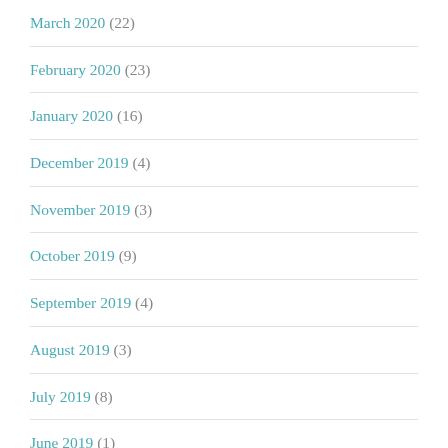March 2020 (22)
February 2020 (23)
January 2020 (16)
December 2019 (4)
November 2019 (3)
October 2019 (9)
September 2019 (4)
August 2019 (3)
July 2019 (8)
June 2019 (1)